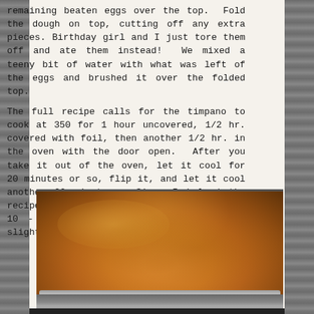remaining beaten eggs over the top.  Fold the dough on top, cutting off any extra pieces. Birthday girl and I just tore them off and ate them instead!  We mixed a teeny bit of water with what was left of the eggs and brushed it over the folded top.
The full recipe calls for the timpano to cook at 350 for 1 hour uncovered, 1/2 hr. covered with foil, then another 1/2 hr. in the oven with the door open.  After you take it out of the oven, let it cool for 20 minutes or so, flip it, and let it cool another 20 minutes.  Since I halved the recipe, I reduced the oven times by about 10 - 15 minutes, and let it cool just slightly less time.
[Figure (photo): A golden-brown baked timpano in a round metal pan, showing a domed crust with a rich caramelized top, viewed from slightly above on a light countertop.]